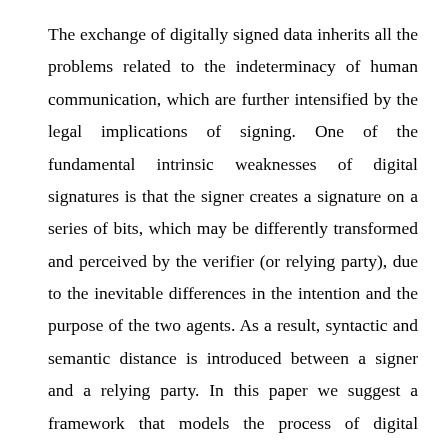The exchange of digitally signed data inherits all the problems related to the indeterminacy of human communication, which are further intensified by the legal implications of signing. One of the fundamental intrinsic weaknesses of digital signatures is that the signer creates a signature on a series of bits, which may be differently transformed and perceived by the verifier (or relying party), due to the inevitable differences in the intention and the purpose of the two agents. As a result, syntactic and semantic distance is introduced between a signer and a relying party. In this paper we suggest a framework that models the process of digital signing, using several virtual and interrelated levels of communication, thereby promoting the analytic and synthetic exploration of the entities and the transformations involved. Based on this exploration, it is possible to indicate the favorable conditions for mutual understanding between the signer and the relying party.